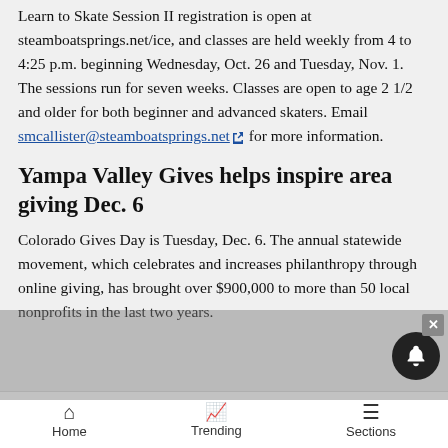Learn to Skate Session II registration is open at steamboatsprings.net/ice, and classes are held weekly from 4 to 4:25 p.m. beginning Wednesday, Oct. 26 and Tuesday, Nov. 1. The sessions run for seven weeks. Classes are open to age 2 1/2 and older for both beginner and advanced skaters. Email smcallister@steamboatsprings.net for more information.
Yampa Valley Gives helps inspire area giving Dec. 6
Colorado Gives Day is Tuesday, Dec. 6. The annual statewide movement, which celebrates and increases philanthropy through online giving, has brought over $900,000 to more than 50 local nonprofits in the last two years.
Home  Trending  Sections